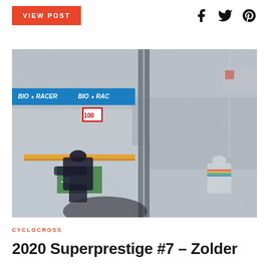VIEW POST
[Figure (photo): Cyclocross race photo at Zolder circuit. Racers on track near metal fence/barrier, with blue BioRacer sponsor banner visible. One rider in black kit crouching left, another rider in white/grey kit on right side. Green advertising board and orange safety railing visible in foreground. Overcast sky.]
CYCLOCROSS
2020 Superprestige #7 – Zolder